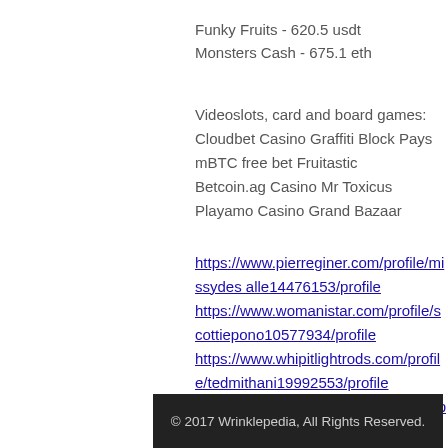Funky Fruits - 620.5 usdt
Monsters Cash - 675.1 eth
Videoslots, card and board games:
Cloudbet Casino Graffiti Block Pays
mBTC free bet Fruitastic
Betcoin.ag Casino Mr Toxicus
Playamo Casino Grand Bazaar
https://www.pierreginer.com/profile/missydesalle14476153/profile
https://www.womanistar.com/profile/scottiepono10577934/profile
https://www.whipitlightrods.com/profile/tedmithani19992553/profile
https://www.indigodesignandco.com/profile/dwainconine8313759/profile
© 2017 Wrinklepedia, All Rights Reserved.